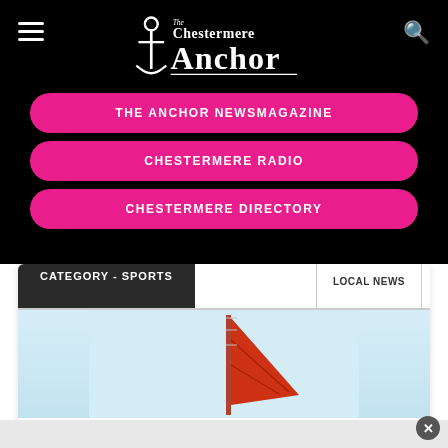[Figure (logo): The Chestermere Anchor logo with anchor graphic and serif/script text on black background]
THE ANCHOR NEWSMAGAZINE
CHESTERMERE RADIO
CHESTERMERE DIRECTORY
CATEGORY - SPORTS
LOCAL NEWS
[Figure (photo): Partial image of a red sailboat sail against a light blue sky]